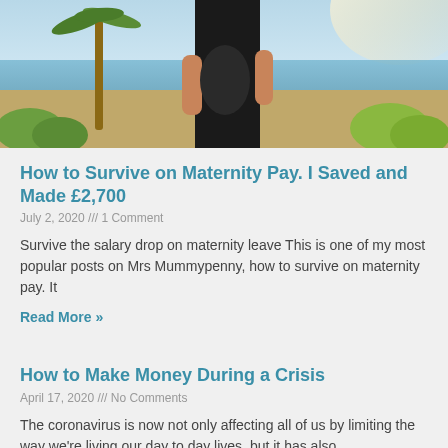[Figure (photo): Photo of a pregnant woman in black clothing standing outdoors near a beach with palm trees and green plants in background, sunlit scene.]
How to Survive on Maternity Pay. I Saved and Made £2,700
July 2, 2020 /// 1 Comment
Survive the salary drop on maternity leave This is one of my most popular posts on Mrs Mummypenny, how to survive on maternity pay. It
Read More »
How to Make Money During a Crisis
April 17, 2020 /// No Comments
The coronavirus is now not only affecting all of us by limiting the way we're living our day to day lives, but it has also